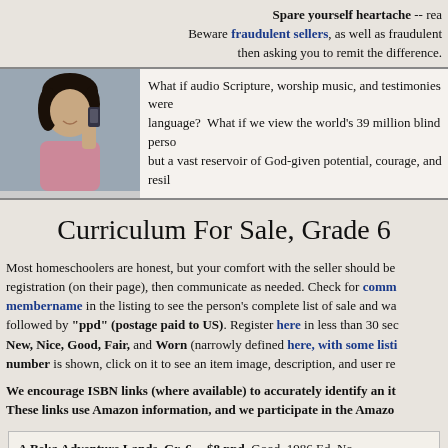Spare yourself heartache -- rea Beware fraudulent sellers, as well as fraudulent then asking you to remit the difference.
[Figure (photo): Woman holding a small audio device near her face, smiling]
What if audio Scripture, worship music, and testimonies were language? What if we view the world's 39 million blind perso but a vast reservoir of God-given potential, courage, and resil
Curriculum For Sale, Grade 6
Most homeschoolers are honest, but your comfort with the seller should be registration (on their page), then communicate as needed. Check for comm membername in the listing to see the person's complete list of sale and wa followed by "ppd" (postage paid to US). Register here in less than 30 sec New, Nice, Good, Fair, and Worn (narrowly defined here, with some listi number is shown, click on it to see an item image, description, and user re
We encourage ISBN links (where available) to accurately identify an it These links use Amazon information, and we participate in the Amazo
A Beka Adventure Lands, Gr. 6 -- $8 ppd. Good. 1986 Ed. No marks.   lorraine  07/13
A Beka Adventure Lands, Gr. 6 -- $6 ppd. Good. No marks, cover slightly worn.   serene4  08/09